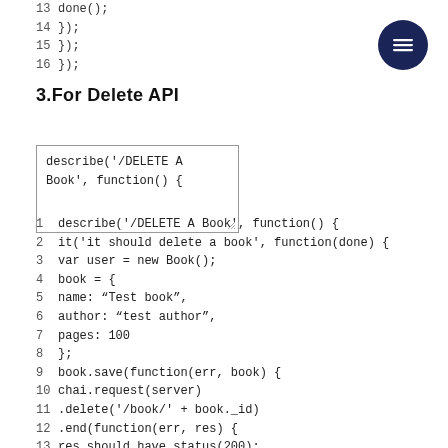13  done();
14  });
15  });
16  });
3.For Delete API
[Figure (screenshot): Code preview box showing: describe('/DELETE A Book', function() {]
1   describe('/DELETE A Book', function() {
2   it('it should delete a book', function(done) {
3   var user = new Book();
4   book = {
5   name: "Test book",
6   author: "test author",
7   pages: 100
8   };
9   book.save(function(err, book) {
10  chai.request(server)
11  .delete('/book/' + book._id)
12  .end(function(err, res) {
13  res.should.have.status(200);
14  res.body.should.be.a('object');
15  done();
16  });
17  });
18  });